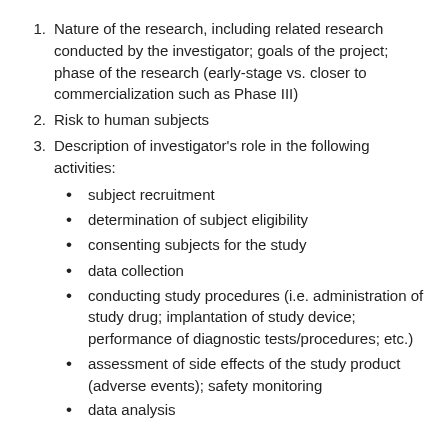1. Nature of the research, including related research conducted by the investigator; goals of the project; phase of the research (early-stage vs. closer to commercialization such as Phase III)
2. Risk to human subjects
3. Description of investigator's role in the following activities:
subject recruitment
determination of subject eligibility
consenting subjects for the study
data collection
conducting study procedures (i.e. administration of study drug; implantation of study device; performance of diagnostic tests/procedures; etc.)
assessment of side effects of the study product (adverse events); safety monitoring
data analysis